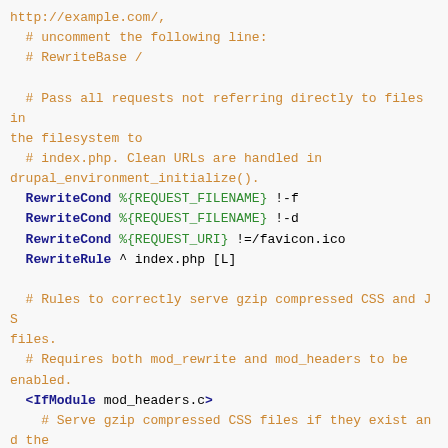Code snippet showing Apache .htaccess RewriteCond and RewriteRule directives with comments about handling requests, gzip compression for CSS and JS files.